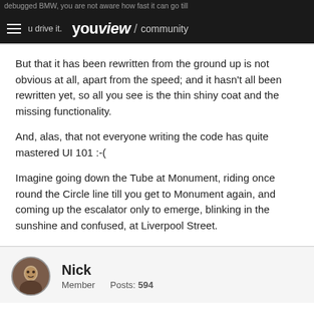debugged BMW, you are not aware how fast it can go till you drive it. youview / community
But that it has been rewritten from the ground up is not obvious at all, apart from the speed; and it hasn't all been rewritten yet, so all you see is the thin shiny coat and the missing functionality.
And, alas, that not everyone writing the code has quite mastered UI 101 :-(
Imagine going down the Tube at Monument, riding once round the Circle line till you get to Monument again, and coming up the escalator only to emerge, blinking in the sunshine and confused, at Liverpool Street.
It's a bit like that :-)
Nick
Member    Posts: 594